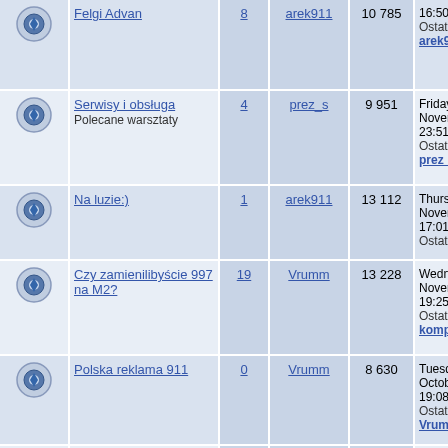|  | Topic | Replies | Author | Views | Last Post |
| --- | --- | --- | --- | --- | --- |
| (icon) | Felgi Advan | 8 | arek911 | 10 785 | 16:50
Ostatni post:
arek911 |
| (icon) | Serwisy i obsługa
Polecane warsztaty | 4 | prez_s | 9 951 | Friday, 15 November 20...
23:51
Ostatni post:
prez_s |
| (icon) | Na luzie:) | 1 | arek911 | 13 112 | Thursday, 14 November 20...
17:01
Ostatni post: |
| (icon) | Czy zamienilibyście 997 na M2? | 19 | Vrumm | 13 228 | Wednesday,
November 20...
19:25
Ostatni post:
kompot |
| (icon) | Polska reklama 911 | 0 | Vrumm | 8 630 | Tuesday, 29 October 2019
19:08
Ostatni post:
Vrumm |
| (icon) | Cayamn 987c - który silnik?
Dylemat pomiędzy 2.7 a 3.4 | 3 | marekmcc | 9 395 | Friday, 25 October 2019
13:41
Ostatni post: |